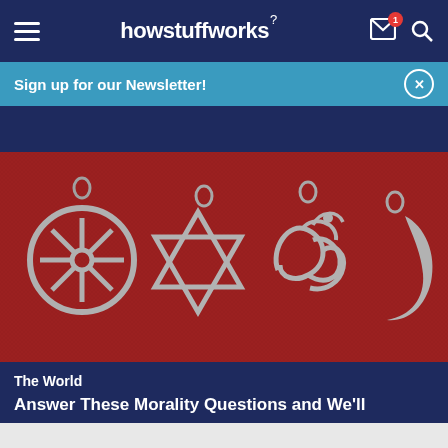howstuffworks
Sign up for our Newsletter!
[Figure (photo): Four silver religious symbol charms (Dharma wheel, Star of David, Om symbol, crescent moon) on a red fabric background]
The World
Answer These Morality Questions and We'll...